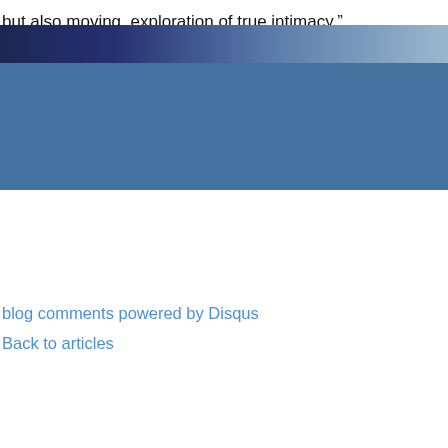but also moving, exploration of true intimacy.”
Enjoyed reading Khabar magazine? Subscribe to Khabar and get... American community magazine.
[Figure (other): Tweet button with Twitter bird icon]
blog comments powered by Disqus
Back to articles
[Figure (other): Footer with dark blue gradient bar and blue background section]